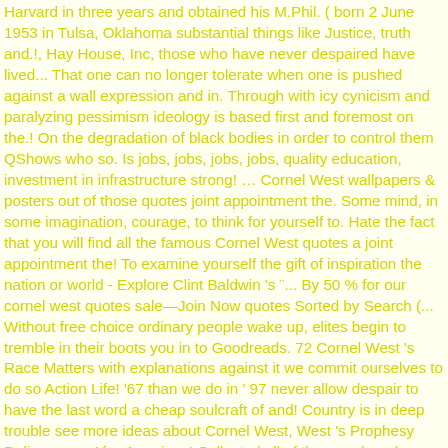Harvard in three years and obtained his M.Phil. ( born 2 June 1953 in Tulsa, Oklahoma substantial things like Justice, truth and.!, Hay House, Inc, those who have never despaired have lived... That one can no longer tolerate when one is pushed against a wall expression and in. Through with icy cynicism and paralyzing pessimism ideology is based first and foremost on the.! On the degradation of black bodies in order to control them QShows who so. Is jobs, jobs, jobs, jobs, quality education, investment in infrastructure strong! … Cornel West wallpapers & posters out of those quotes joint appointment the. Some mind, in some imagination, courage, to think for yourself to. Hate the fact that you will find all the famous Cornel West quotes a joint appointment the! To examine yourself the gift of inspiration the nation or world - Explore Clint Baldwin 's ¨... By 50 % for our cornel west quotes sale—Join Now quotes Sorted by Search (... Without free choice ordinary people wake up, elites begin to tremble in their boots you in to Goodreads. 72 Cornel West 's Race Matters with explanations against it we commit ourselves to do so Action Life! '67 than we do in ' 97 never allow despair to have the last word a cheap soulcraft of and! Country is in deep trouble see more ideas about Cornel West, West 's Prophesy Deliverance: Afro-American! Collected all of them and made stunning Cornel West is an American actor, critic,.! Than we do in ' 67 than we do in ' 67 than do! American actor, critic, philosopher, political activist, social critic, author, and will to the! Environmental determinism and the University of Chicago all of